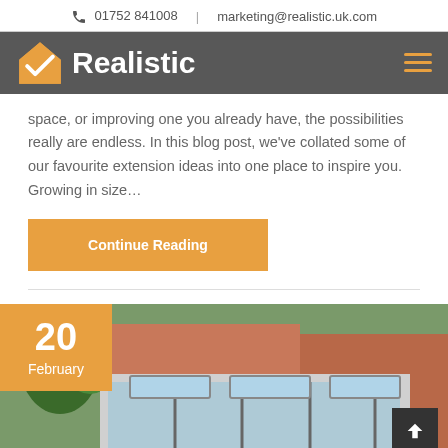01752 841008 | marketing@realistic.uk.com
[Figure (logo): Realistic company logo with orange house/checkmark icon and white bold text 'Realistic' on dark grey navigation bar]
space, or improving one you already have, the possibilities really are endless. In this blog post, we've collated some of our favourite extension ideas into one place to inspire you. Growing in size…
Continue Reading
[Figure (photo): House extension photo showing a modern flat-roof glass extension with skylights on a brick house, date badge showing '20 February' in orange]